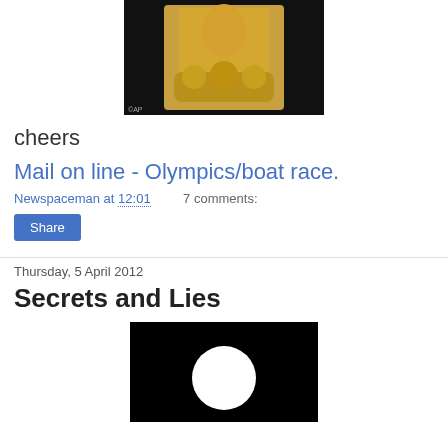[Figure (photo): Person in gold/yellow ceremonial clothing holding a golden object, black background]
cheers
Mail on line - Olympics/boat race.
Newspaceman at 12:01   7 comments:
Share
Thursday, 5 April 2012
Secrets and Lies
[Figure (photo): Black background with a white circle/moon in the center]